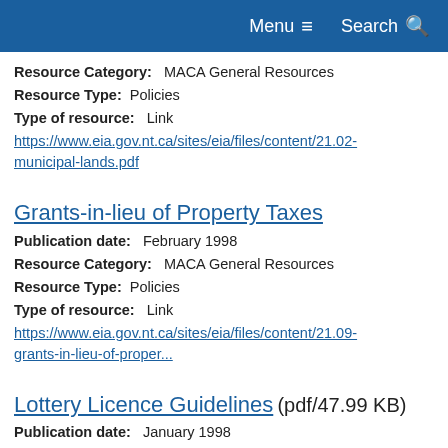Menu  Search
Resource Category:  MACA General Resources
Resource Type:  Policies
Type of resource:  Link
https://www.eia.gov.nt.ca/sites/eia/files/content/21.02-municipal-lands.pdf
Grants-in-lieu of Property Taxes
Publication date:  February 1998
Resource Category:  MACA General Resources
Resource Type:  Policies
Type of resource:  Link
https://www.eia.gov.nt.ca/sites/eia/files/content/21.09-grants-in-lieu-of-proper...
Lottery Licence Guidelines (pdf/47.99 KB)
Publication date:  January 1998
Resource Category:  Consumer Affairs